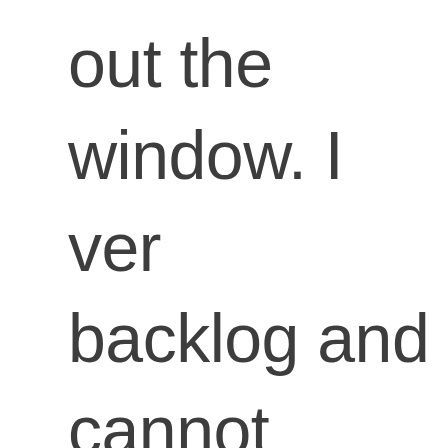out the window. I ve backlog and cannot and that puts me un ask for a comfortabl do the job, as I'm afr do lose some). I wou